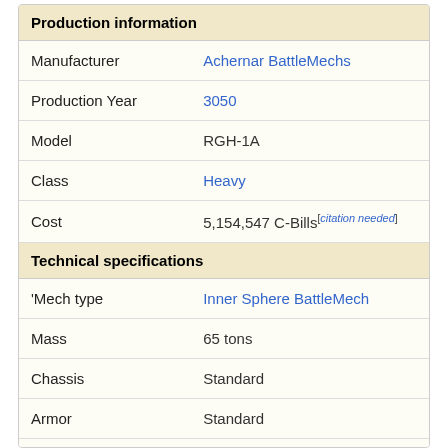Production information
| Field | Value |
| --- | --- |
| Manufacturer | Achernar BattleMechs |
| Production Year | 3050 |
| Model | RGH-1A |
| Class | Heavy |
| Cost | 5,154,547 C-Bills[citation needed] |
Technical specifications
| Field | Value |
| --- | --- |
| 'Mech type | Inner Sphere BattleMech |
| Mass | 65 tons |
| Chassis | Standard |
| Armor | Standard |
| Engine | 260 |